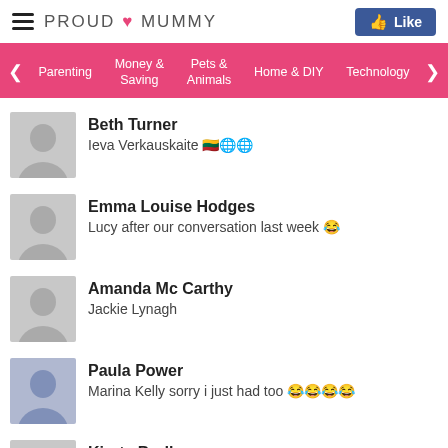PROUD MUMMY
Beth Turner — Ieva Verkauskaite 🌐🌐
Emma Louise Hodges — Lucy after our conversation last week 😂
Amanda Mc Carthy — Jackie Lynagh
Paula Power — Marina Kelly sorry i just had too 😂😂😂😂
Kirsty Bodle — Lisa Smith 😂